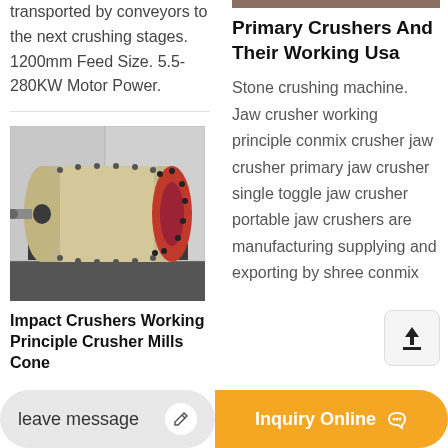transported by conveyors to the next crushing stages. 1200mm Feed Size. 5.5-280KW Motor Power.
[Figure (photo): Industrial ball mill / grinding machine, cylindrical in shape, cream/white colored with bolted flanges, red end cap, mounted on a metal frame in an industrial facility]
Impact Crushers Working Principle Crusher Mills Cone
Primary Crushers And Their Working Usa
Stone crushing machine. Jaw crusher working principle conmix crusher jaw crusher primary jaw crusher single toggle jaw crusher portable jaw crushers are manufacturing supplying and exporting by shree conmix
leave message
Inquiry Online